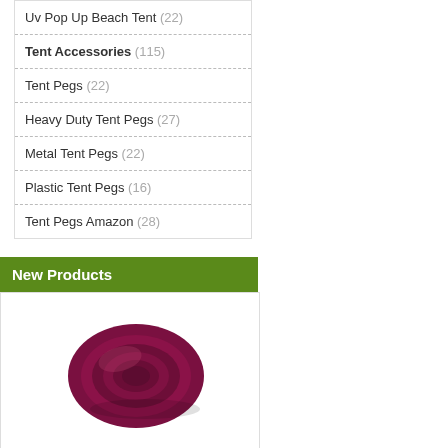Uv Pop Up Beach Tent (22)
Tent Accessories (115)
Tent Pegs (22)
Heavy Duty Tent Pegs (27)
Metal Tent Pegs (22)
Plastic Tent Pegs (16)
Tent Pegs Amazon (28)
New Products
[Figure (photo): A rolled up dark red/maroon fleece blanket photographed from above against a white background.]
fleece blankets
£42.79  £21.25